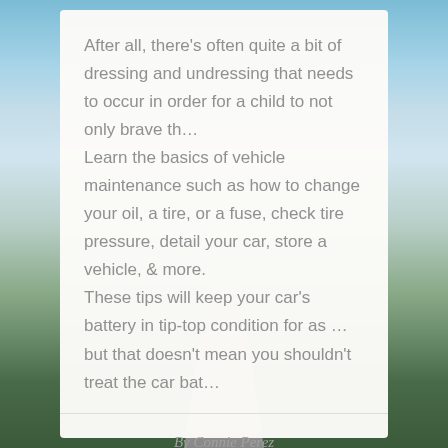After all, there's often quite a bit of dressing and undressing that needs to occur in order for a child to not only brave th…
Learn the basics of vehicle maintenance such as how to change your oil, a tire, or a fuse, check tire pressure, detail your car, store a vehicle, & more.
These tips will keep your car's battery in tip-top condition for as … but that doesn't mean you shouldn't treat the car bat…
By Connie Perez